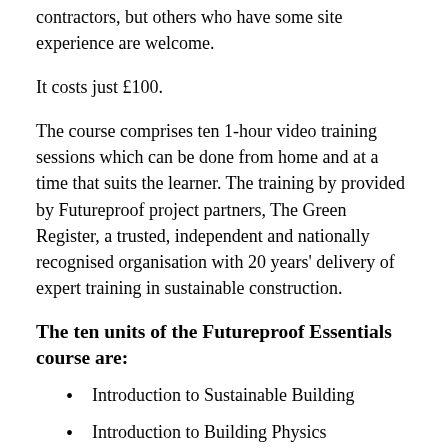contractors, but others who have some site experience are welcome.
It costs just £100.
The course comprises ten 1-hour video training sessions which can be done from home and at a time that suits the learner. The training by provided by Futureproof project partners, The Green Register, a trusted, independent and nationally recognised organisation with 20 years' delivery of expert training in sustainable construction.
The ten units of the Futureproof Essentials course are:
Introduction to Sustainable Building
Introduction to Building Physics
Introduction to PAS2035